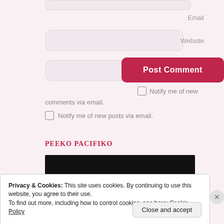Email
Website
Post Comment
Notify me of new comments via email.
Notify me of new posts via email.
PEEKO PACIFIKO
[Figure (photo): Dark/black image with green and yellow bars at bottom]
Privacy & Cookies: This site uses cookies. By continuing to use this website, you agree to their use.
To find out more, including how to control cookies, see here: Cookie Policy
Close and accept